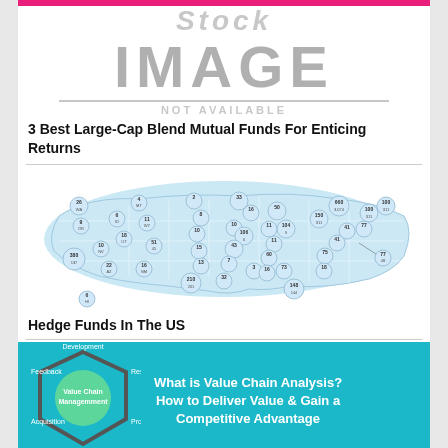[Figure (other): Stock image placeholder with text 'Stock IMAGE NOT AVAILABLE']
3 Best Large-Cap Blend Mutual Funds For Enticing Returns
[Figure (map): Map of Hedge Funds in the US showing distribution by state with numeric values]
Hedge Funds In The US
[Figure (infographic): Value Chain Analysis infographic on teal background showing hexagon diagram with Value Chain Management in center, surrounding nodes: Development, Research, Manufacturing, Procurement, Feedback. Text reads: What is Value Chain Analysis? How to Deliver Value & Gain a Competitive Advantage]